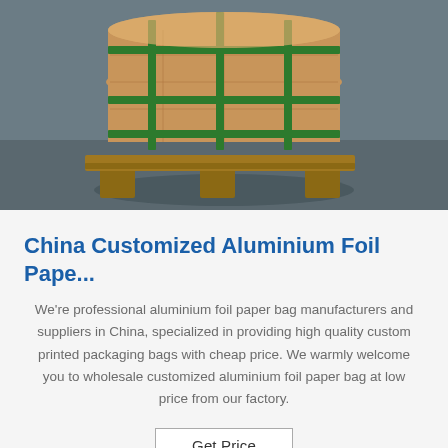[Figure (photo): A large cylindrical roll of cardboard/paper wrapped with green strapping tape, sitting on a wooden pallet in a warehouse with a concrete floor.]
China Customized Aluminium Foil Pape...
We're professional aluminium foil paper bag manufacturers and suppliers in China, specialized in providing high quality custom printed packaging bags with cheap price. We warmly welcome you to wholesale customized aluminium foil paper bag at low price from our factory.